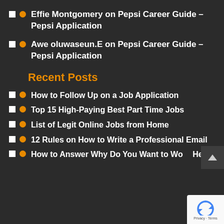Effie Montgomery on Pepsi Career Guide – Pepsi Application
Awe oluwaseun.E on Pepsi Career Guide – Pepsi Application
Recent Posts
How to Follow Up on a Job Application
Top 15 High-Paying Best Part Time Jobs
List of Legit Online Jobs from Home
12 Rules on How to Write a Professional Email
How to Answer Why Do You Want to Work Here